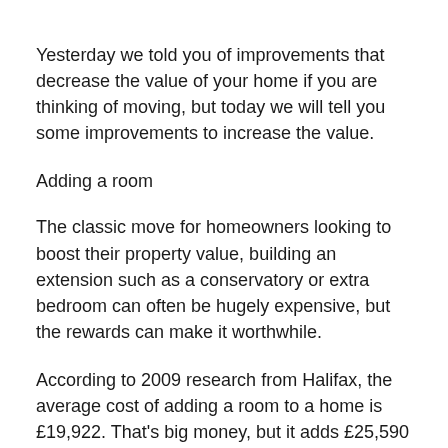Yesterday we told you of improvements that decrease the value of your home if you are thinking of moving, but today we will tell you some improvements to increase the value.
Adding a room
The classic move for homeowners looking to boost their property value, building an extension such as a conservatory or extra bedroom can often be hugely expensive, but the rewards can make it worthwhile.
According to 2009 research from Halifax, the average cost of adding a room to a home is £19,922. That's big money, but it adds £25,590 to the average house price, meaning a profit of £5,668.